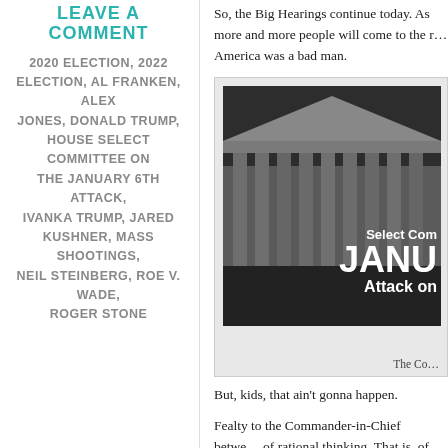LEAVE A COMMENT
2020 ELECTION, 2022 ELECTION, AL FRANKEN, ALEX JONES, DONALD TRUMP, HOUSE SELECT COMMITTEE ON THE JANUARY 6TH ATTACK, IVANKA TRUMP, JARED KUSHNER, MASS SHOOTINGS, NEIL STEINBERG, ROE V. WADE, ROGER STONE
So, the Big Hearings continue today. As more and more people will come to the r… America was a bad man.
[Figure (photo): Black and white image of the U.S. Capitol building with overlaid text reading 'Select Com' and 'JANU' and 'Attack on']
The Co…
But, kids, that ain't gonna happen.
Fealty to the Commander-in-Chief betwe… of rational thinking. That is, of course…